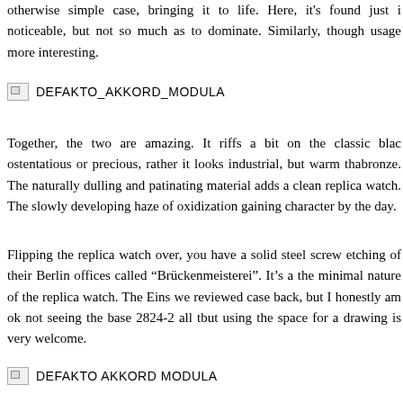otherwise simple case, bringing it to life. Here, it's found just in noticeable, but not so much as to dominate. Similarly, though usage more interesting.
[Figure (illustration): Broken image placeholder with label DEFAKTO_AKKORD_MODULA]
Together, the two are amazing. It riffs a bit on the classic blac ostentatious or precious, rather it looks industrial, but warm tha bronze. The naturally dulling and patinating material adds a clean replica watch. The slowly developing haze of oxidization gaining character by the day.
Flipping the replica watch over, you have a solid steel screw etching of their Berlin offices called “Brückenmeisterei”. It’s a the minimal nature of the replica watch. The Eins we reviewed case back, but I honestly am ok not seeing the base 2824-2 all t but using the space for a drawing is very welcome.
[Figure (illustration): Broken image placeholder with label DEFAKTO AKKORD MODULA]